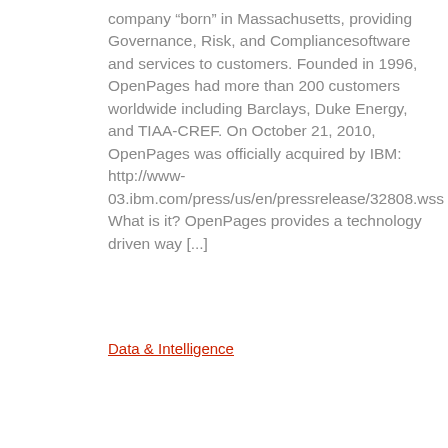company “born” in Massachusetts, providing Governance, Risk, and Compliancesoftware and services to customers. Founded in 1996, OpenPages had more than 200 customers worldwide including Barclays, Duke Energy, and TIAA-CREF. On October 21, 2010, OpenPages was officially acquired by IBM: http://www-03.ibm.com/press/us/en/pressrelease/32808.wss What is it? OpenPages provides a technology driven way [...]
Data & Intelligence